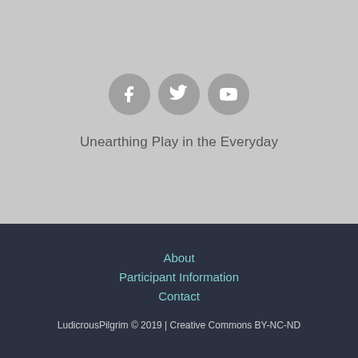[Figure (other): Three social media icon circles (Facebook, Twitter, YouTube) on a light grey background]
Unearthing Play in the Everyday
About
Participant Information
Contact
LudicrousPilgrim © 2019 | Creative Commons BY-NC-ND